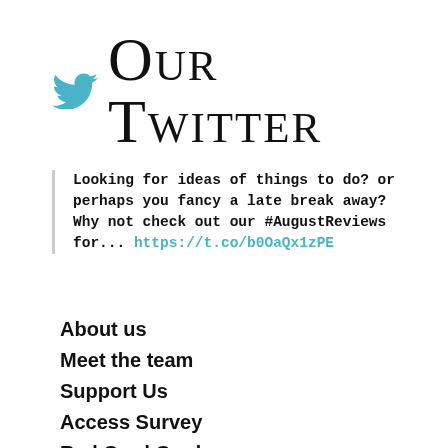Our Twitter
Looking for ideas of things to do? or perhaps you fancy a late break away? Why not check out our #AugustReviews for... https://t.co/b0OaQx1zPE
About us
Meet the team
Support Us
Access Survey
Red Cord Cards
What makes a good review